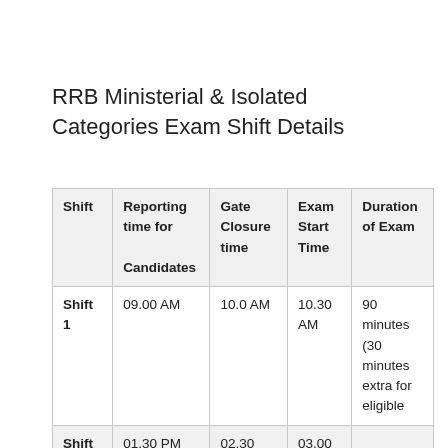RRB Ministerial & Isolated Categories Exam Shift Details
| Shift | Reporting time for Candidates | Gate Closure time | Exam Start Time | Duration of Exam |
| --- | --- | --- | --- | --- |
| Shift 1 | 09.00 AM | 10.0 AM | 10.30 AM | 90 minutes (30 minutes extra for eligible |
| Shift | 01.30 PM | 02.30 | 03.00 |  |